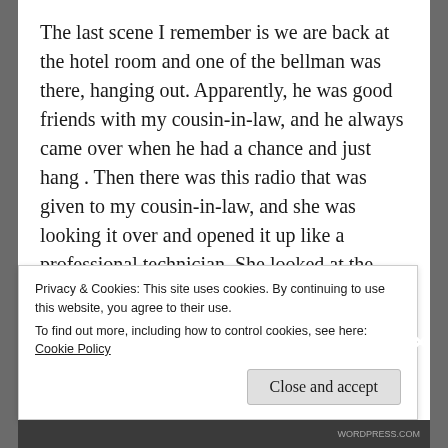The last scene I remember is we are back at the hotel room and one of the bellman was there, hanging out. Apparently, he was good friends with my cousin-in-law, and he always came over when he had a chance and just hang . Then there was this radio that was given to my cousin-in-law, and she was looking it over and opened it up like a professional technician. She looked at the circuits and was disconnecting them while I looked on. She then explained to me that the radio was rigged to get only US radio channels and wouldn't pick up
Privacy & Cookies: This site uses cookies. By continuing to use this website, you agree to their use.
To find out more, including how to control cookies, see here: Cookie Policy